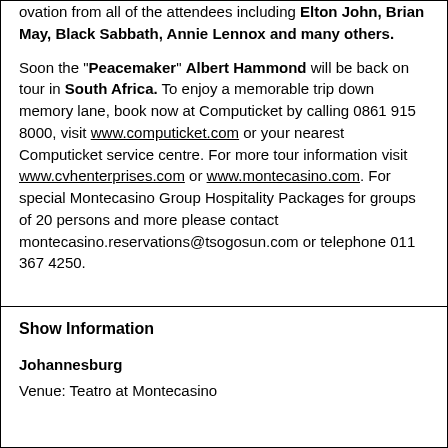ovation from all of the attendees including Elton John, Brian May, Black Sabbath, Annie Lennox and many others.
Soon the "Peacemaker" Albert Hammond will be back on tour in South Africa. To enjoy a memorable trip down memory lane, book now at Computicket by calling 0861 915 8000, visit www.computicket.com or your nearest Computicket service centre. For more tour information visit www.cvhenterprises.com or www.montecasino.com. For special Montecasino Group Hospitality Packages for groups of 20 persons and more please contact montecasino.reservations@tsogosun.com or telephone 011 367 4250.
Show Information
Johannesburg
Venue: Teatro at Montecasino